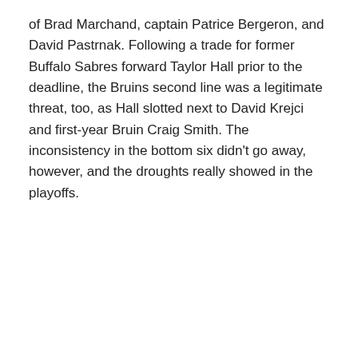of Brad Marchand, captain Patrice Bergeron, and David Pastrnak. Following a trade for former Buffalo Sabres forward Taylor Hall prior to the deadline, the Bruins second line was a legitimate threat, too, as Hall slotted next to David Krejci and first-year Bruin Craig Smith. The inconsistency in the bottom six didn't go away, however, and the droughts really showed in the playoffs.
[Figure (screenshot): Embedded tweet from @NHLBruins (Boston Bruins) with verified badge. Tweet text: 'It's a Freddy Friday. The #NHLBruins have signed Trent Frederic to a two-year deal with an annual NHL cap hit of $1.05 million.' Footer shows: 'Full Details: bbru.in/3qDfZGp']